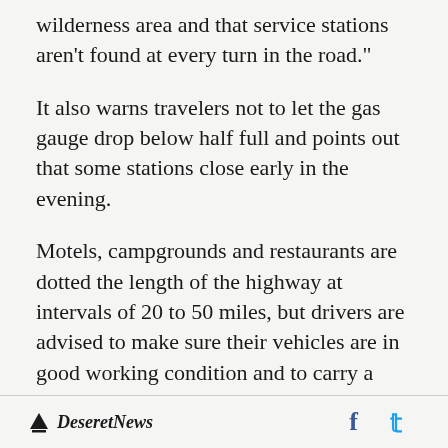wilderness area and that service stations aren't found at every turn in the road."
It also warns travelers not to let the gas gauge drop below half full and points out that some stations close early in the evening.
Motels, campgrounds and restaurants are dotted the length of the highway at intervals of 20 to 50 miles, but drivers are advised to make sure their vehicles are in good working condition and to carry a spare tire and fanbelt. In summers, the road is heavily traveled during normal daylight hours so assistance generally is readily available.
Deseret News  f  [twitter]